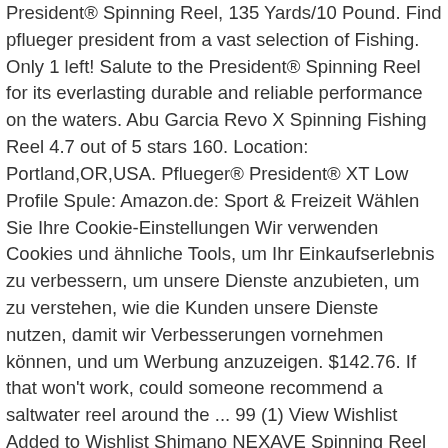President® Spinning Reel, 135 Yards/10 Pound. Find pflueger president from a vast selection of Fishing. Only 1 left! Salute to the President® Spinning Reel for its everlasting durable and reliable performance on the waters. Abu Garcia Revo X Spinning Fishing Reel 4.7 out of 5 stars 160. Location: Portland,OR,USA. Pflueger® President® XT Low Profile Spule: Amazon.de: Sport & Freizeit Wählen Sie Ihre Cookie-Einstellungen Wir verwenden Cookies und ähnliche Tools, um Ihr Einkaufserlebnis zu verbessern, um unsere Dienste anzubieten, um zu verstehen, wie die Kunden unsere Dienste nutzen, damit wir Verbesserungen vornehmen können, und um Werbung anzuzeigen. $142.76. If that won't work, could someone recommend a saltwater reel around the ... 99 (1) View Wishlist Added to Wishlist Shimano NEXAVE Spinning Reel From $69. Light and smooth; Extreme comfort and balance; Aluminum main shaft is 30% lighter than stainless steel; Aluminum pinion gear weighs 60% less than brass Pflueger reel repair parts (spool President XT 25) AU $34.16. List Price: Our Price: $ 79.95 Add to Cart for Special Price SHIPS FREE Orders must have $49 of Free Shipping products. A real life fishing discussion. Contains (1)